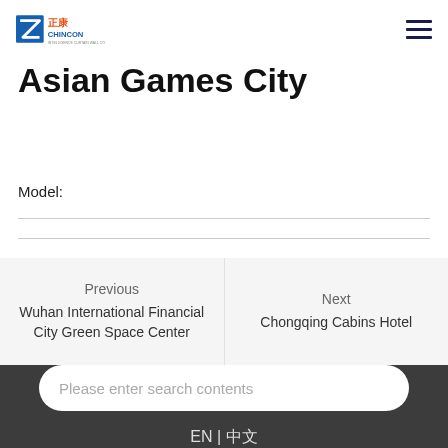Chincon logo and navigation menu
Asian Games City
Model:
Previous
Wuhan International Financial City Green Space Center
Next
Chongqing Cabins Hotel
Please enter search contents | EN | 中文